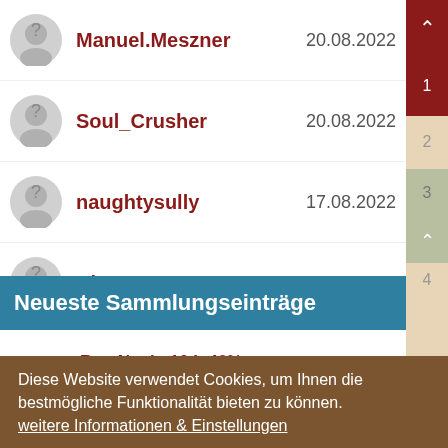Manuel.Meszner  20.08.2022
Soul_Crusher  20.08.2022
naughtysully  17.08.2022
Bine  17.08.2022
Neueste Sammlungseinträge
Ron Novio 10 L   46%
Diese Website verwendet Cookies, um Ihnen die bestmögliche Funktionalität bieten zu können. weitere Informationen & Einstellungen
Nur Notwendige
Alle akzeptieren
Impressum | Datenschutzhinweise